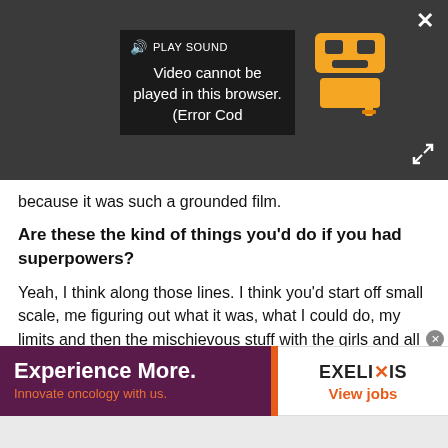[Figure (screenshot): Video player showing error message: 'Video cannot be played in this browser. (Error Cod' with a yellow truck/robot icon. Play Sound button visible at top. Close X button top right, expand arrows bottom right.]
because it was such a grounded film.
Are these the kind of things you'd do if you had superpowers?
Yeah, I think along those lines. I think you'd start off small scale, me figuring out what it was, what I could do, my limits and then the mischievous stuff with the girls and all that stuff, however it could benefit me and then I'm pretty sure I would do something that was completely out of line and got completely out of
[Figure (screenshot): Advertisement banner: left side dark purple background with orange accent stripe reading 'Experience More. Innovate oncology with us.' Right side white background with EXELIXIS logo and 'View jobs' in orange.]